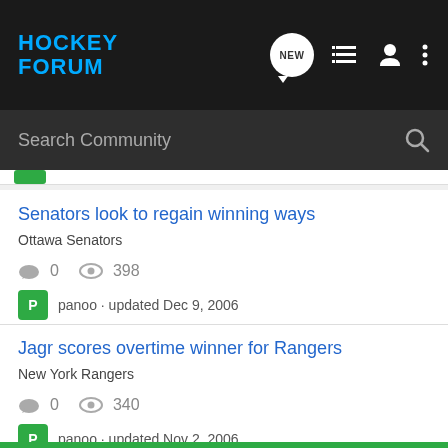HOCKEY FORUM
Search Community
Senators look to regain winning ways
Ottawa Senators
0   398
panoo · updated Dec 9, 2006
Jagr scores overtime winner for Rangers
New York Rangers
0   340
panoo · updated Nov 2, 2006